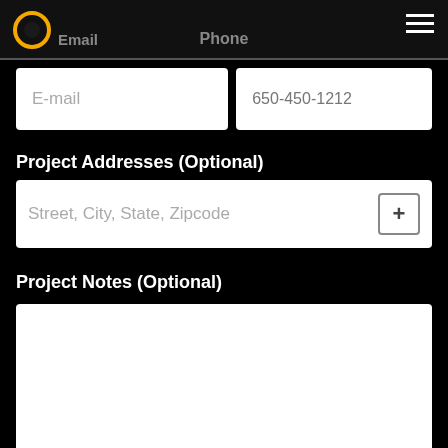Email   Phone
E-mail
650-450-1212
Project Addresses (Optional)
Street, City, State, Zipcode
Project Notes (Optional)